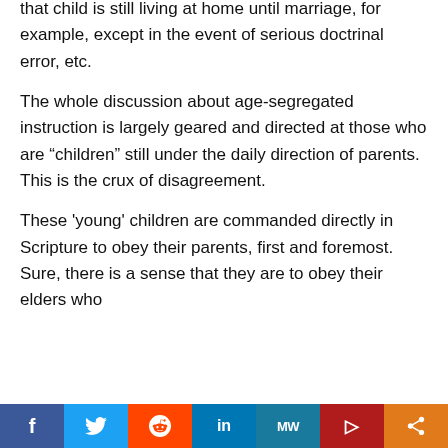that child is still living at home until marriage, for example, except in the event of serious doctrinal error, etc.
The whole discussion about age-segregated instruction is largely geared and directed at those who are “children” still under the daily direction of parents. This is the crux of disagreement.
These 'young' children are commanded directly in Scripture to obey their parents, first and foremost. Sure, there is a sense that they are to obey their elders who
Social share bar: Facebook, Twitter, Reddit, LinkedIn, MeWe, Parler, Share